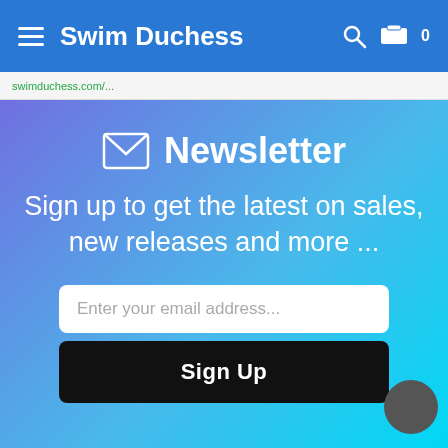Swim Duchess
swimduchess.com/...
Newsletter
Sign up to get the latest on sales, new releases and more ...
Enter your email address...
Sign Up